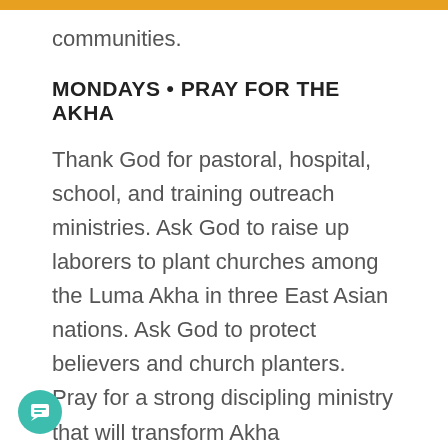communities.
MONDAYS • PRAY FOR THE AKHA
Thank God for pastoral, hospital, school, and training outreach ministries. Ask God to raise up laborers to plant churches among the Luma Akha in three East Asian nations. Ask God to protect believers and church planters. Pray for a strong discipling ministry that will transform Akha communities into his likeness. Pray for the salvation of the chiefs, village leaders, and local officials in Akha villages.